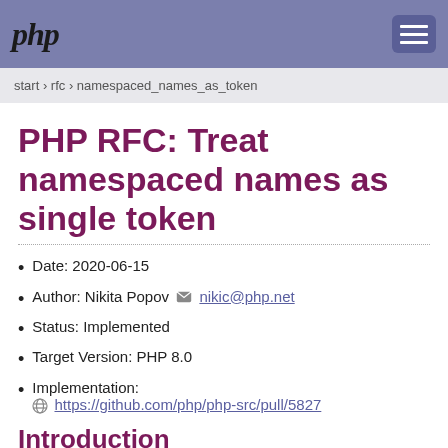php
start › rfc › namespaced_names_as_token
PHP RFC: Treat namespaced names as single token
Date: 2020-06-15
Author: Nikita Popov nikic@php.net
Status: Implemented
Target Version: PHP 8.0
Implementation: https://github.com/php/php-src/pull/5827
Introduction